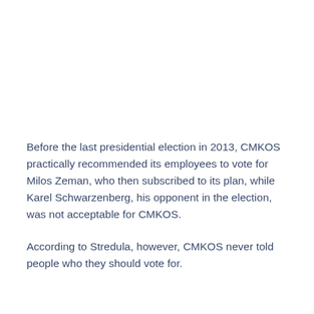Before the last presidential election in 2013, CMKOS practically recommended its employees to vote for Milos Zeman, who then subscribed to its plan, while Karel Schwarzenberg, his opponent in the election, was not acceptable for CMKOS.
According to Stredula, however, CMKOS never told people who they should vote for.